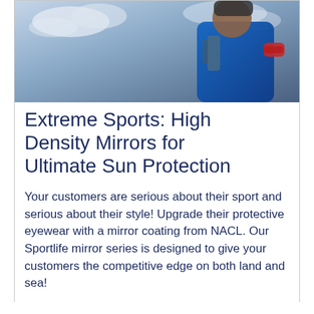[Figure (photo): Person in blue jacket and red gloves in an outdoor extreme sports setting, sky and clouds in background.]
Extreme Sports: High Density Mirrors for Ultimate Sun Protection
Your customers are serious about their sport and serious about their style! Upgrade their protective eyewear with a mirror coating from NACL. Our Sportlife mirror series is designed to give your customers the competitive edge on both land and sea!
Medical and Dental